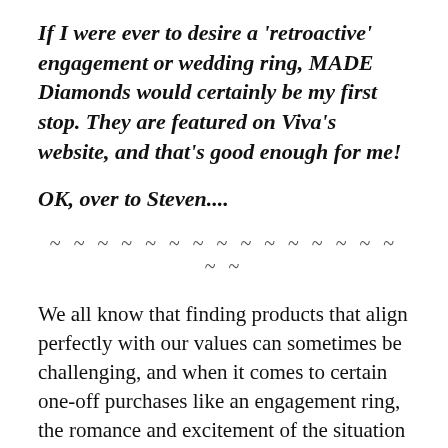If I were ever to desire a 'retroactive' engagement or wedding ring, MADE Diamonds would certainly be my first stop. They are featured on Viva's website, and that's good enough for me!
OK, over to Steven....
~ ~ ~ ~ ~ ~ ~ ~ ~ ~ ~ ~ ~ ~ ~ ~ ~
We all know that finding products that align perfectly with our values can sometimes be challenging, and when it comes to certain one-off purchases like an engagement ring, the romance and excitement of the situation can